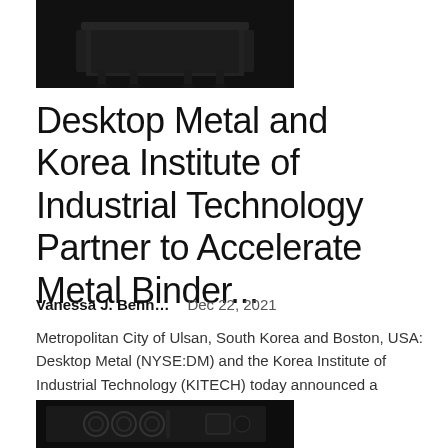[Figure (photo): Black and white photo of a dark metal industrial machine or equipment on a dark background, partially visible at top of page]
Desktop Metal and Korea Institute of Industrial Technology Partner to Accelerate Metal Binder...
Vanessa J. Benn...   Dec 22, 2021
Metropolitan City of Ulsan, South Korea and Boston, USA: Desktop Metal (NYSE:DM) and the Korea Institute of Industrial Technology (KITECH) today announced a partnership to...
[Figure (photo): Black and white photo of industrial metal binder jetting equipment showing circular print heads and internal components on dark background]